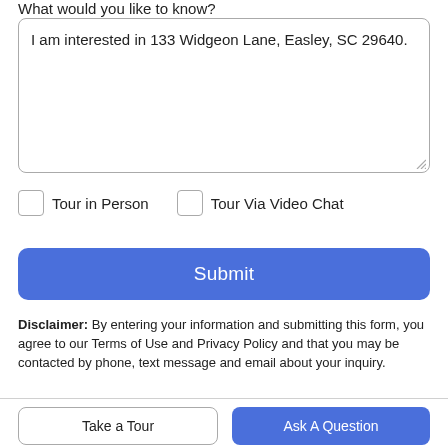What would you like to know?
I am interested in 133 Widgeon Lane, Easley, SC 29640.
Tour in Person
Tour Via Video Chat
Submit
Disclaimer: By entering your information and submitting this form, you agree to our Terms of Use and Privacy Policy and that you may be contacted by phone, text message and email about your inquiry.
Take a Tour
Ask A Question